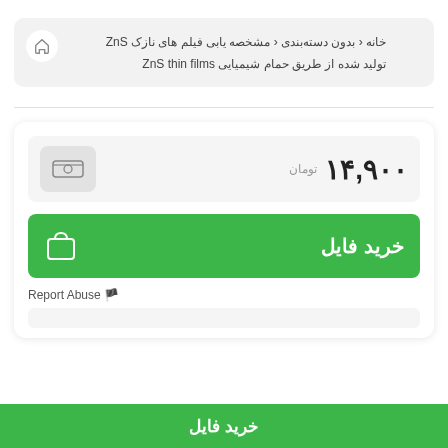خانه ❮ بدون دسته‌بندی ❮ مشخصه یابی فیلم های نازک ZnS تولید شده از طریق حمام شیمیایی ZnS thin films
۱۴,۹۰۰ تومان
خرید فایل
Report Abuse 🚩
خرید فایل